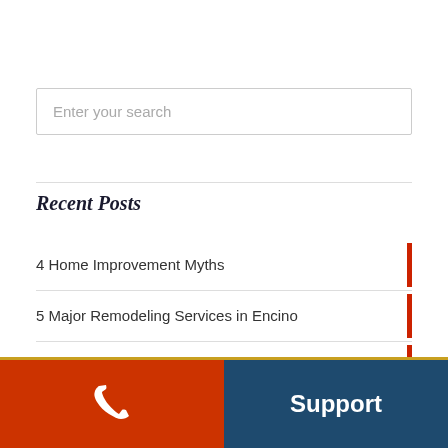Enter your search
Recent Posts
4 Home Improvement Myths
5 Major Remodeling Services in Encino
What to Know About Home Additions
Media Room or Home Theater?
Support